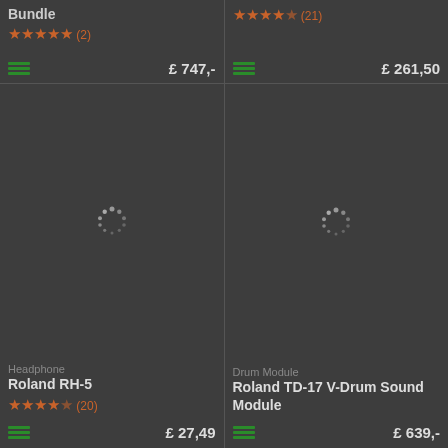Bundle
[Figure (other): Star rating: 5 stars (2 reviews)]
£ 747,-
[Figure (other): Star rating: 4.5 stars (21 reviews)]
£ 261,50
[Figure (photo): Loading spinner for product image]
[Figure (photo): Loading spinner for product image]
Headphone
Roland RH-5
[Figure (other): Star rating: 4 stars (20 reviews)]
£ 27,49
Drum Module
Roland TD-17 V-Drum Sound Module
£ 639,-